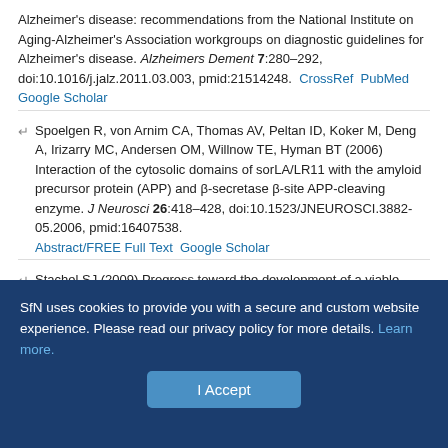Alzheimer's disease: recommendations from the National Institute on Aging-Alzheimer's Association workgroups on diagnostic guidelines for Alzheimer's disease. Alzheimers Dement 7:280–292, doi:10.1016/j.jalz.2011.03.003, pmid:21514248. CrossRef PubMed Google Scholar
Spoelgen R, von Arnim CA, Thomas AV, Peltan ID, Koker M, Deng A, Irizarry MC, Andersen OM, Willnow TE, Hyman BT (2006) Interaction of the cytosolic domains of sorLA/LR11 with the amyloid precursor protein (APP) and β-secretase β-site APP-cleaving enzyme. J Neurosci 26:418–428, doi:10.1523/JNEUROSCI.3882-05.2006, pmid:16407538. Abstract/FREE Full Text Google Scholar
Stachel SJ (2009) Progress toward the development of a viable BACE-1 inhibitor. Drug Dev Res 70:101–110, doi:10.1002/ddr.20289. CrossRef Google Scholar
SfN uses cookies to provide you with a secure and custom website experience. Please read our privacy policy for more details. Learn more.